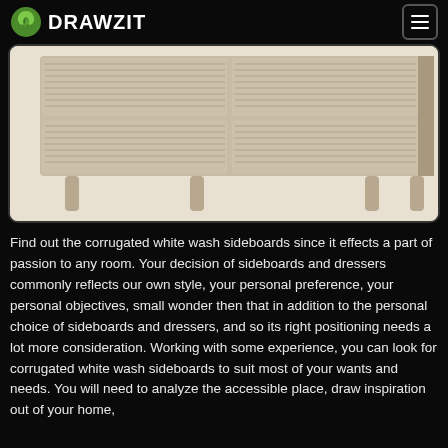DRAWZIT
[Figure (photo): Close-up photo of a light wood corrugated white wash sideboard/dresser showing its ribbed drawer fronts and tapered legs against a white background]
Find out the corrugated white wash sideboards since it effects a part of passion to any room. Your decision of sideboards and dressers commonly reflects our own style, your personal preference, your personal objectives, small wonder then that in addition to the personal choice of sideboards and dressers, and so its right positioning needs a lot more consideration. Working with some experience, you can look for corrugated white wash sideboards to suit most of your wants and needs. You will need to analyze the accessible place, draw inspiration out of your home,